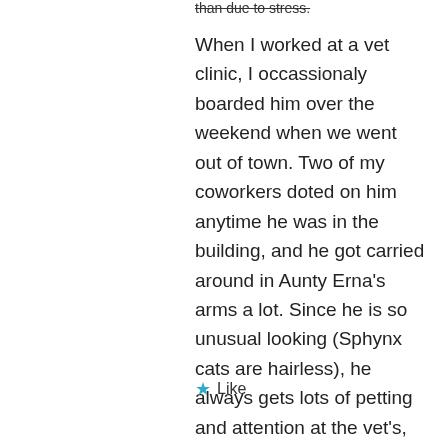than due to stress.
When I worked at a vet clinic, I occassionaly boarded him over the weekend when we went out of town. Two of my coworkers doted on him anytime he was in the building, and he got carried around in Aunty Erna’s arms a lot. Since he is so unusual looking (Sphynx cats are hairless), he always gets lots of petting and attention at the vet’s, even if he doesn’t get cuddled as much as when I worked in a clinic. To this day his demeaner at the vet is more “Ah, great. We’ve arrived at the place where my admirers live,” than “I hope nothing bad will happen.” – Laurel
★ Like